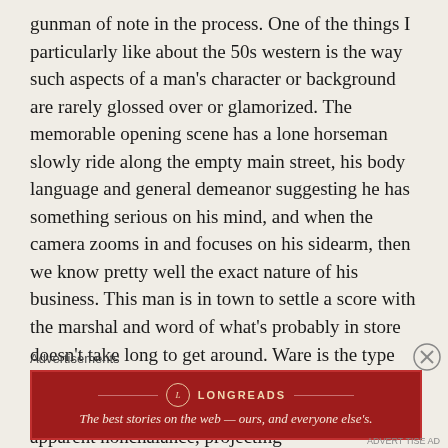gunman of note in the process. One of the things I particularly like about the 50s western is the way such aspects of a man's character or background are rarely glossed over or glamorized. The memorable opening scene has a lone horseman slowly ride along the empty main street, his body language and general demeanor suggesting he has something serious on his mind, and when the camera zooms in and focuses on his sidearm, then we know pretty well the exact nature of his business. This man is in town to settle a score with the marshal and word of what's probably in store doesn't take long to get around. Ware is the type who knows only too well the importance of maintaining a facade, he makes a big play of his apparent nonchalance, projecting
Advertisements
[Figure (other): Longreads advertisement banner in dark red with logo and tagline: The best stories on the web — ours, and everyone else's.]